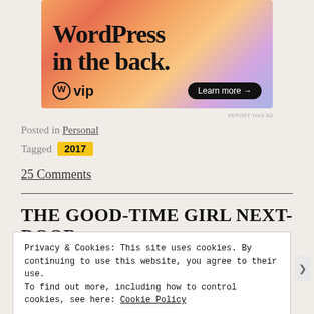[Figure (other): WordPress VIP advertisement banner with colorful gradient background showing text 'WordPress in the back.' with WP VIP logo and 'Learn more →' button]
REPORT THIS AD
Posted in Personal
Tagged 2017
25 Comments
THE GOOD-TIME GIRL NEXT-DOOR
Privacy & Cookies: This site uses cookies. By continuing to use this website, you agree to their use.
To find out more, including how to control cookies, see here: Cookie Policy